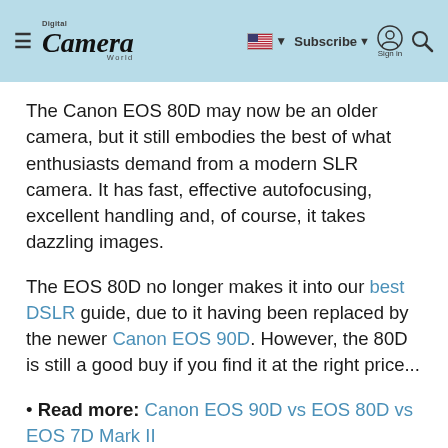Digital Camera World — Subscribe | Sign in
The Canon EOS 80D may now be an older camera, but it still embodies the best of what enthusiasts demand from a modern SLR camera. It has fast, effective autofocusing, excellent handling and, of course, it takes dazzling images.
The EOS 80D no longer makes it into our best DSLR guide, due to it having been replaced by the newer Canon EOS 90D. However, the 80D is still a good buy if you find it at the right price...
• Read more: Canon EOS 90D vs EOS 80D vs EOS 7D Mark II